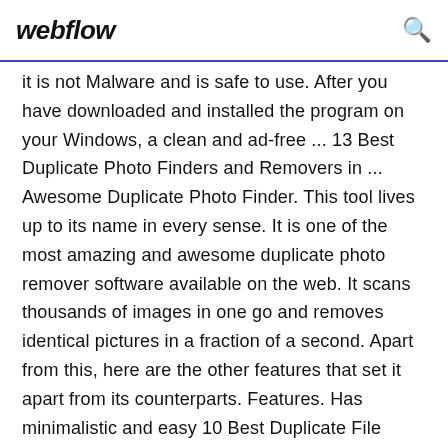webflow
it is not Malware and is safe to use. After you have downloaded and installed the program on your Windows, a clean and ad-free ... 13 Best Duplicate Photo Finders and Removers in ... Awesome Duplicate Photo Finder. This tool lives up to its name in every sense. It is one of the most amazing and awesome duplicate photo remover software available on the web. It scans thousands of images in one go and removes identical pictures in a fraction of a second. Apart from this, here are the other features that set it apart from its counterparts. Features. Has minimalistic and easy 10 Best Duplicate File Finders in 2020 (Free & Paid) Best Duplicate File Finder for Windows: Easy Duplicate Finder Easy